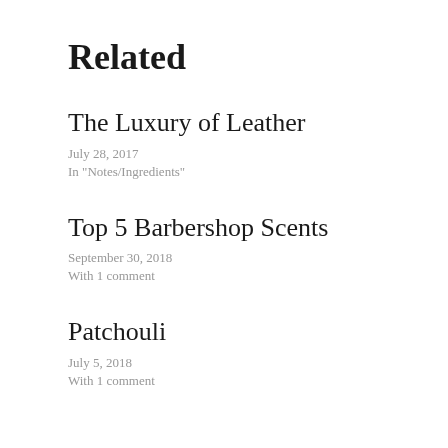Related
The Luxury of Leather
July 28, 2017
In "Notes/Ingredients"
Top 5 Barbershop Scents
September 30, 2018
With 1 comment
Patchouli
July 5, 2018
With 1 comment